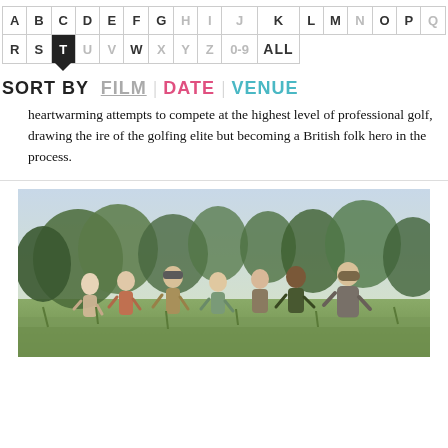| A | B | C | D | E | F | G | H | I | J | K | L | M | N | O | P | Q |
| --- | --- | --- | --- | --- | --- | --- | --- | --- | --- | --- | --- | --- | --- | --- | --- | --- |
| R | S | T | U | V | W | X | Y | Z | 0-9 | ALL |  |  |  |  |  |  |
SORT BY  FILM | DATE | VENUE
heartwarming attempts to compete at the highest level of professional golf, drawing the ire of the golfing elite but becoming a British folk hero in the process.
[Figure (photo): Group of children running outdoors in a countryside setting, with trees in the background and a woman at the right edge.]